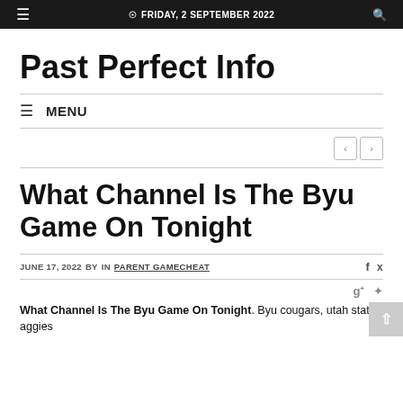≡  ⊙ FRIDAY, 2 SEPTEMBER 2022  🔍
Past Perfect Info
≡  MENU
< >
What Channel Is The Byu Game On Tonight
JUNE 17, 2022 BY IN PARENT GAMECHEAT f 🐦
g+ ⊕ What Channel Is The Byu Game On Tonight. Byu cougars, utah state aggies